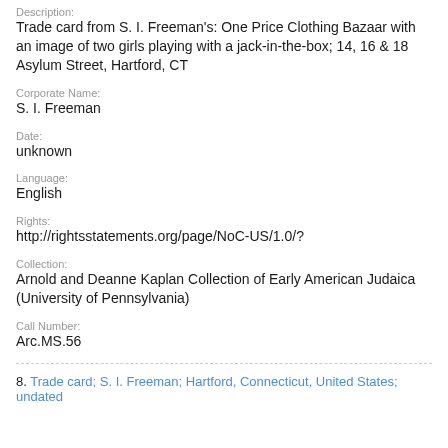Description:
Trade card from S. I. Freeman's: One Price Clothing Bazaar with an image of two girls playing with a jack-in-the-box; 14, 16 & 18 Asylum Street, Hartford, CT
Corporate Name:
S. I. Freeman
Date:
unknown
Language:
English
Rights:
http://rightsstatements.org/page/NoC-US/1.0/?
Collection:
Arnold and Deanne Kaplan Collection of Early American Judaica (University of Pennsylvania)
Call Number:
Arc.MS.56
8. Trade card; S. I. Freeman; Hartford, Connecticut, United States; undated